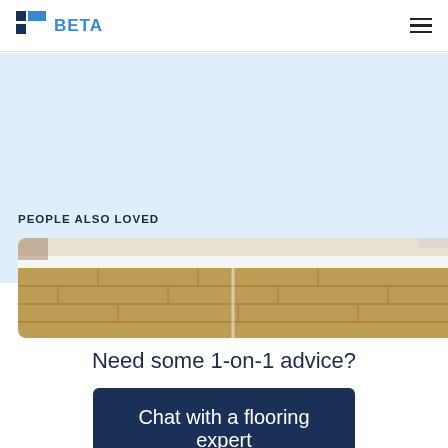BETA
[Figure (photo): Light blue background band for a flooring product website section]
PEOPLE ALSO LOVED
[Figure (photo): Close-up photo of light wood laminate flooring with white baseboard, slightly blurred]
Need some 1-on-1 advice?
Chat with a flooring expert